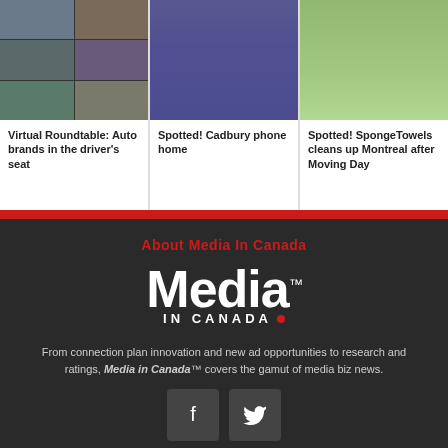[Figure (photo): Three-column grid of article thumbnails: left shows video call grid, center shows blue door, right shows people in white SpongeTowels t-shirts outdoors]
Virtual Roundtable: Auto brands in the driver's seat
Spotted! Cadbury phone home
Spotted! SpongeTowels cleans up Montreal after Moving Day
About Media In Canada
[Figure (logo): Media in Canada logo - large white 'Media' text with trademark symbol, 'IN CANADA' text below with red dot]
From connection plan innovation and new ad opportunities to research and ratings, Media in Canada™ covers the gamut of media biz news.
[Figure (other): Facebook and Twitter social media icon buttons]
About